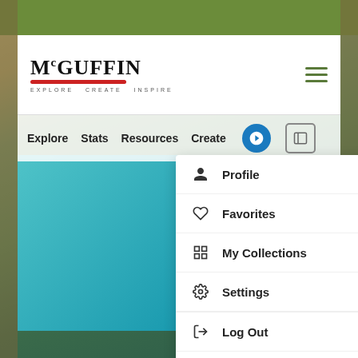[Figure (screenshot): McGuffin website screenshot showing navigation bar with Explore, Stats, Resources, Create menu items, a user account dropdown menu open showing Profile, Favorites, My Collections, Settings, Log Out, and Night Mode toggle options. Background shows a foggy forest scene. Teal card visible in background.]
McGuffin — EXPLORE CREATE INSPIRE
Profile
Favorites
My Collections
Settings
Log Out
Night Mode